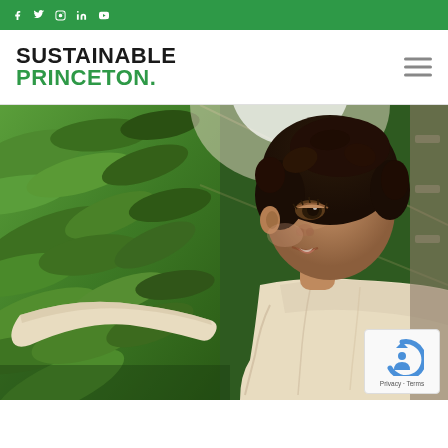Social media icons: Facebook, Twitter, Instagram, LinkedIn, YouTube
SUSTAINABLE PRINCETON.
[Figure (photo): A young child reaching toward green leafy vegetables in a grocery store produce section. The child is wearing a cream-colored sweater and looking at the produce. The background shows green vegetables and store shelving in soft focus.]
Privacy · Terms